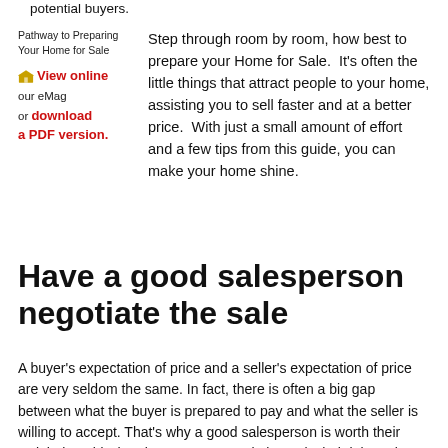potential buyers.
Pathway to Preparing Your Home for Sale
View online our eMag or download a PDF version.
Step through room by room, how best to prepare your Home for Sale.  It's often the little things that attract people to your home, assisting you to sell faster and at a better price.  With just a small amount of effort and a few tips from this guide, you can make your home shine.
Have a good salesperson negotiate the sale
A buyer's expectation of price and a seller's expectation of price are very seldom the same. In fact, there is often a big gap between what the buyer is prepared to pay and what the seller is willing to accept. That's why a good salesperson is worth their weight in gold when it comes to negotiation. It is their job to close this gap in your favour.